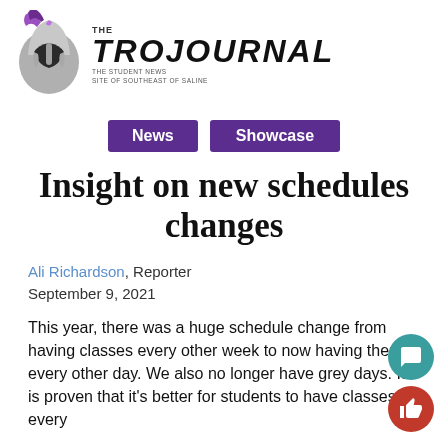THE TROJOURNAL — THE STUDENT NEWS SITE OF SOUTHEAST OF SALINE
News | Showcase
Insight on new schedules changes
Ali Richardson, Reporter
September 9, 2021
This year, there was a huge schedule change from having classes every other week to now having them every other day. We also no longer have grey days. It is proven that it's better for students to have classes every